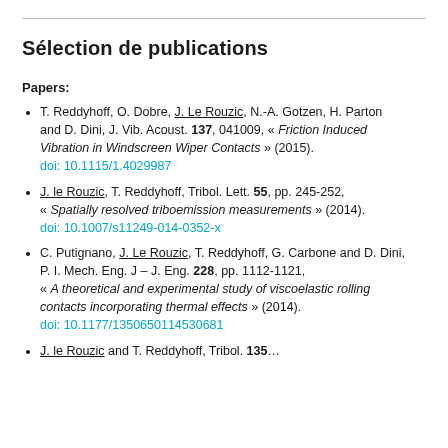Sélection de publications
Papers:
T. Reddyhoff, O. Dobre, J. Le Rouzic, N.-A. Gotzen, H. Parton and D. Dini, J. Vib. Acoust. 137, 041009, « Friction Induced Vibration in Windscreen Wiper Contacts » (2015). doi: 10.1115/1.4029987
J. le Rouzic, T. Reddyhoff, Tribol. Lett. 55, pp. 245-252, « Spatially resolved triboemission measurements » (2014). doi: 10.1007/s11249-014-0352-x
C. Putignano, J. Le Rouzic, T. Reddyhoff, G. Carbone and D. Dini, P. I. Mech. Eng. J – J. Eng. 228, pp. 1112-1121, « A theoretical and experimental study of viscoelastic rolling contacts incorporating thermal effects » (2014). doi: 10.1177/1350650114530681
J. le Rouzic and T. Reddyhoff, Tribol. 135...